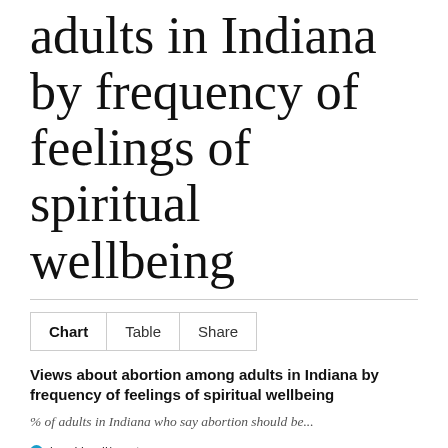adults in Indiana by frequency of feelings of spiritual wellbeing
Chart | Table | Share
Views about abortion among adults in Indiana by frequency of feelings of spiritual wellbeing
% of adults in Indiana who say abortion should be...
legal in all/most cases